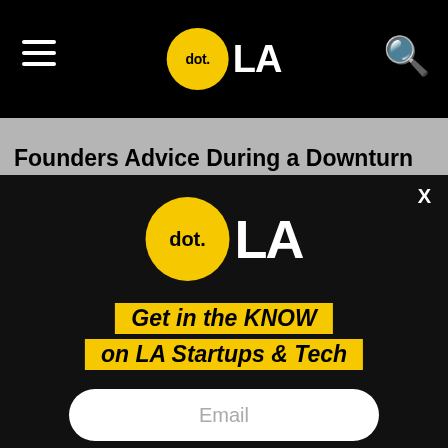dot.LA
Founders Advice During a Downturn
[Figure (logo): dot.LA logo — yellow circle with 'dot.' text inside and 'LA' in white text to the right]
Get in the KNOW on LA Startups & Tech
Email